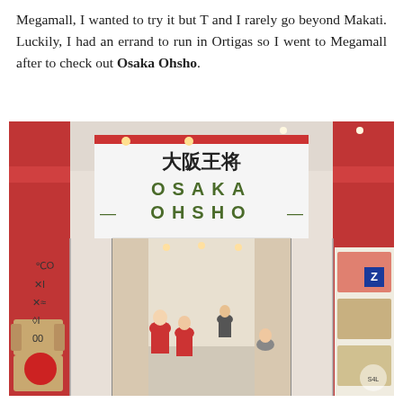Megamall, I wanted to try it but T and I rarely go beyond Makati. Luckily, I had an errand to run in Ortigas so I went to Megamall after to check out Osaka Ohsho.
[Figure (photo): Storefront photo of Osaka Ohsho restaurant at Megamall. The entrance shows a large sign with Chinese characters '大阪王将' and 'OSAKA OHSHO' in green letters on a white and red background. The interior shows diners seated at wooden tables with staff in red shirts visible inside.]